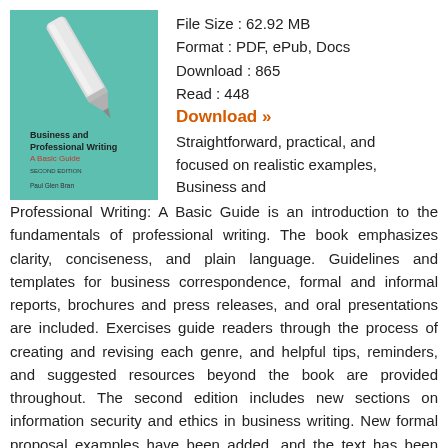[Figure (illustration): Book cover of 'Business and Professional Writing: A Basic Guide' showing a silver pen on a teal/mint green background with the book title and author name]
File Size : 62.92 MB
Format : PDF, ePub, Docs
Download : 865
Read : 448
Download »
Straightforward, practical, and focused on realistic examples, Business and Professional Writing: A Basic Guide is an introduction to the fundamentals of professional writing. The book emphasizes clarity, conciseness, and plain language. Guidelines and templates for business correspondence, formal and informal reports, brochures and press releases, and oral presentations are included. Exercises guide readers through the process of creating and revising each genre, and helpful tips, reminders, and suggested resources beyond the book are provided throughout. The second edition includes new sections on information security and ethics in business writing. New formal proposal examples have been added, and the text has been updated throughout.